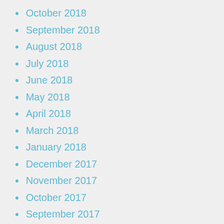October 2018
September 2018
August 2018
July 2018
June 2018
May 2018
April 2018
March 2018
January 2018
December 2017
November 2017
October 2017
September 2017
August 2017
July 2017
June 2017
May 2017
March 2017
February 2017